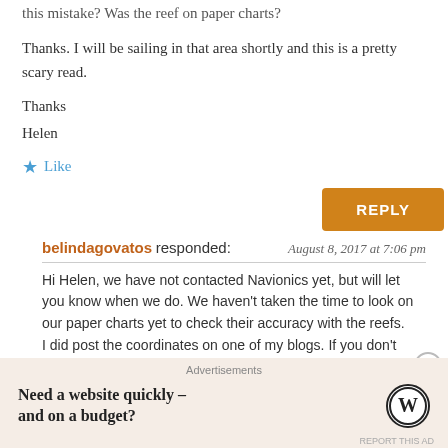this mistake? Was the reef on paper charts?
Thanks. I will be sailing in that area shortly and this is a pretty scary read.
Thanks
Helen
★ Like
REPLY
belindagovatos responded: August 8, 2017 at 7:06 pm
Hi Helen, we have not contacted Navionics yet, but will let you know when we do. We haven't taken the time to look on our paper charts yet to check their accuracy with the reefs.
I did post the coordinates on one of my blogs. If you don't have it, let me know and i can send it to you. Safe sailing
Advertisements
Need a website quickly – and on a budget?